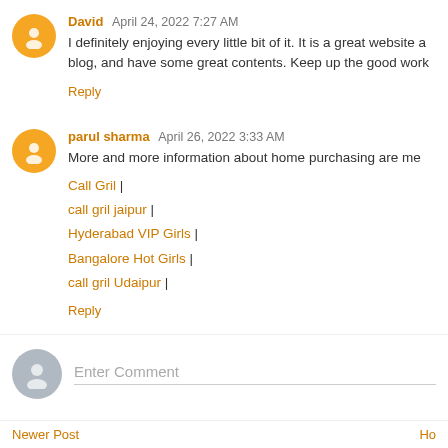David April 24, 2022 7:27 AM
I definitely enjoying every little bit of it. It is a great website a blog, and have some great contents. Keep up the good work
Reply
parul sharma April 26, 2022 3:33 AM
More and more information about home purchasing are me
Call Gril |
call gril jaipur |
Hyderabad VIP Girls |
Bangalore Hot Girls |
call gril Udaipur |
Reply
Enter Comment
Newer Post  Ho